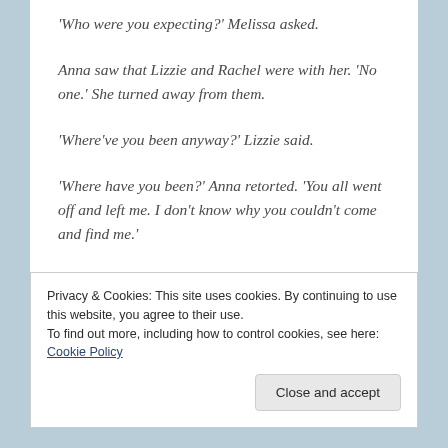‘Who were you expecting?’ Melissa asked.
Anna saw that Lizzie and Rachel were with her. ‘No one.’ She turned away from them.
‘Where’ve you been anyway?’ Lizzie said.
‘Where have you been?’ Anna retorted. ‘You all went off and left me. I don’t know why you couldn’t come and find me.’
Privacy & Cookies: This site uses cookies. By continuing to use this website, you agree to their use.
To find out more, including how to control cookies, see here: Cookie Policy
Close and accept